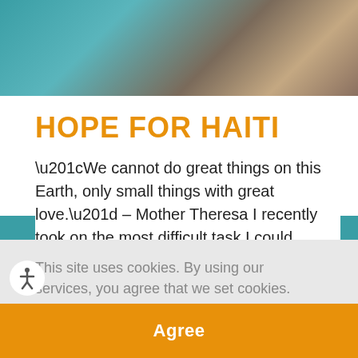[Figure (photo): Photo of two children, appears to be in Haiti context, with teal/turquoise background tones]
HOPE FOR HAITI
“We cannot do great things on this Earth, only small things with great love.” – Mother Theresa I recently took on the most difficult task I could ever imagine. Our team of doctors and nurses had been treating
This site uses cookies. By using our services, you agree that we set cookies. Learn More
Agree